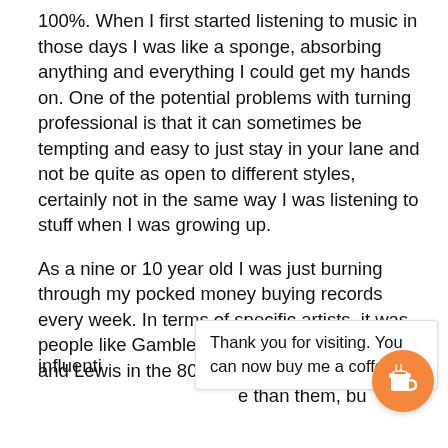100%. When I first started listening to music in those days I was like a sponge, absorbing anything and everything I could get my hands on. One of the potential problems with turning professional is that it can sometimes be tempting and easy to just stay in your lane and not be quite as open to different styles, certainly not in the same way I was listening to stuff when I was growing up.
As a nine or 10 year old I was just burning through my pocked money buying records every week. In terms of specific artists, it was people like Gamble and Huff from the 70s, Jam and Lewis in the 80s and Masters At Work                                           e than them, bu    Thank you for visiting. You      / influenti    can now buy me a coffee!